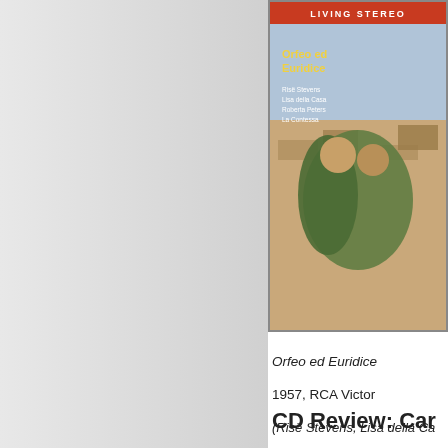[Figure (photo): Album cover for Orfeo ed Euridice, RCA Living Stereo, showing performers in classical costume with ancient ruins background. Text on cover includes 'LIVING STEREO', 'Orfeo ed Euridice', performer names including Rise Stevens, Lisa della Casa, Roberta Peters, and orchestra name.]
Orfeo ed Euridice
1957, RCA Victor
(Risë Stevens, Lisa della Ca...
Orchestra del Teatro dell'Op...
I bought this recording after... must have had a nostalgic a... Orfeos available. Using the R... sung in Italian, with the role o...
CD Review: Car...